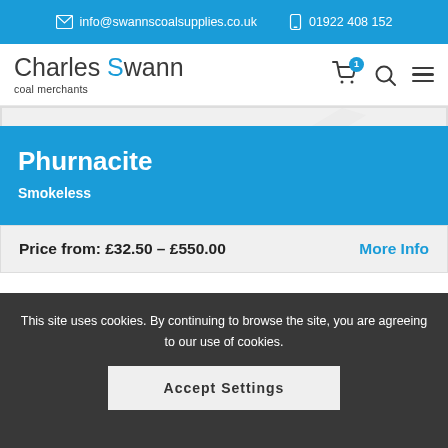info@swannscoalsupplies.co.uk  01922 408 152
[Figure (logo): Charles Swann coal merchants logo with blue S and shopping cart icon with badge 1, search icon, and hamburger menu icon]
Phurnacite
Smokeless
Price from: £32.50 – £550.00
More Info
This site uses cookies. By continuing to browse the site, you are agreeing to our use of cookies.
Accept Settings